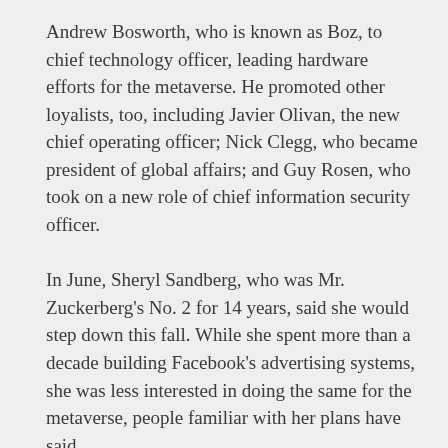Andrew Bosworth, who is known as Boz, to chief technology officer, leading hardware efforts for the metaverse. He promoted other loyalists, too, including Javier Olivan, the new chief operating officer; Nick Clegg, who became president of global affairs; and Guy Rosen, who took on a new role of chief information security officer.
In June, Sheryl Sandberg, who was Mr. Zuckerberg's No. 2 for 14 years, said she would step down this fall. While she spent more than a decade building Facebook's advertising systems, she was less interested in doing the same for the metaverse, people familiar with her plans have said.
Mr. Zuckerberg has moved thousands of workers into